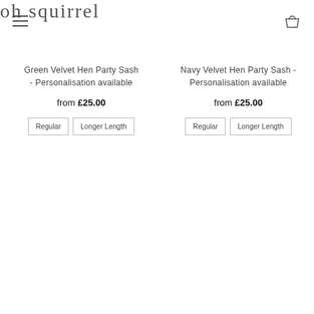oh squirrel
Green Velvet Hen Party Sash - Personalisation available
from £25.00
Regular | Longer Length
Navy Velvet Hen Party Sash - Personalisation available
from £25.00
Regular | Longer Length